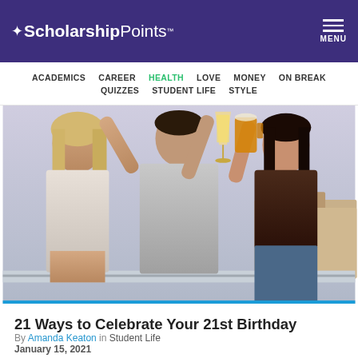Read Article  ★ScholarshipPoints™  MENU
ACADEMICS  CAREER  HEALTH  LOVE  MONEY  ON BREAK  QUIZZES  STUDENT LIFE  STYLE
[Figure (photo): Three young people toasting with drinks outdoors on a rooftop or balcony]
21 Ways to Celebrate Your 21st Birthday
By Amanda Keaton in Student Life
January 15, 2021
And you thought turning 18 was cool.